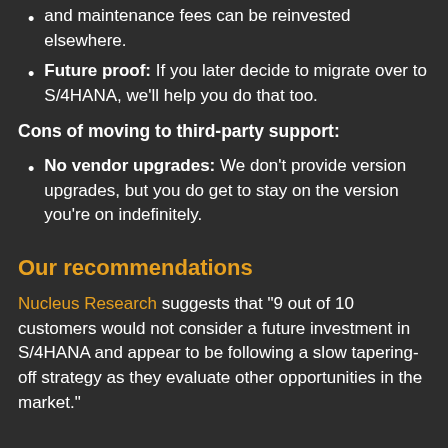and maintenance fees can be reinvested elsewhere.
Future proof: If you later decide to migrate over to S/4HANA, we’ll help you do that too.
Cons of moving to third-party support:
No vendor upgrades: We don’t provide version upgrades, but you do get to stay on the version you’re on indefinitely.
Our recommendations
Nucleus Research suggests that “9 out of 10 customers would not consider a future investment in S/4HANA and appear to be following a slow tapering-off strategy as they evaluate other opportunities in the market.”